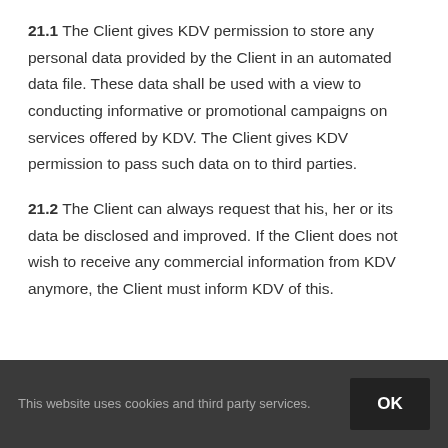21.1 The Client gives KDV permission to store any personal data provided by the Client in an automated data file. These data shall be used with a view to conducting informative or promotional campaigns on services offered by KDV. The Client gives KDV permission to pass such data on to third parties.
21.2 The Client can always request that his, her or its data be disclosed and improved. If the Client does not wish to receive any commercial information from KDV anymore, the Client must inform KDV of this.
This website uses cookies and third party services. OK